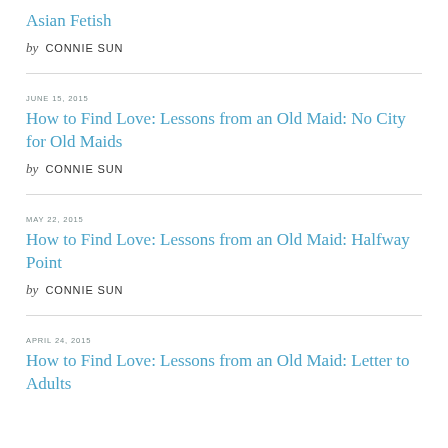Asian Fetish
by CONNIE SUN
JUNE 15, 2015
How to Find Love: Lessons from an Old Maid: No City for Old Maids
by CONNIE SUN
MAY 22, 2015
How to Find Love: Lessons from an Old Maid: Halfway Point
by CONNIE SUN
APRIL 24, 2015
How to Find Love: Lessons from an Old Maid: Letter to Adults